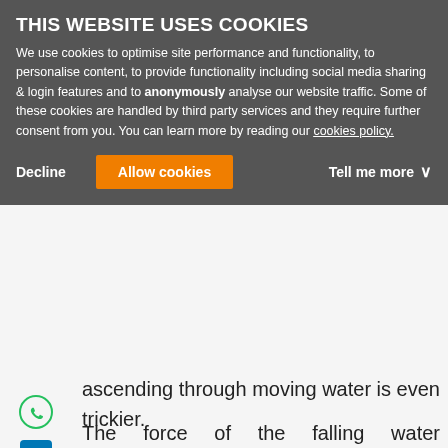THIS WEBSITE USES COOKIES
We use cookies to optimise site performance and functionality, to personalise content, to provide functionality including social media sharing & login features and to anonymously analyse our website traffic. Some of these cookies are handled by third party services and they require further consent from you. You can learn more by reading our cookies policy.
ascending through moving water is even trickier.
The force of the falling water significantly increases the effort required to climb up. Additionally and in line with the principle of ascending, we are blocked on the rope preventing us from falling, but being blocked under the water is extremely dangerous and can result in serious accidents. For this reason we should avoid at all costs ascending under water flow.